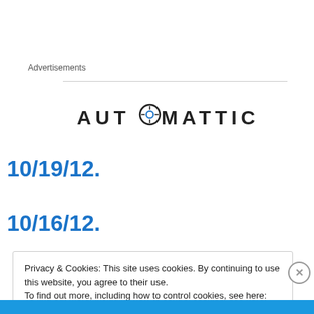Advertisements
[Figure (logo): Automattic logo with stylized compass/target O in the word AUTOMATTIC]
10/19/12.
10/16/12.
Privacy & Cookies: This site uses cookies. By continuing to use this website, you agree to their use.
To find out more, including how to control cookies, see here: Cookie Policy
Close and accept